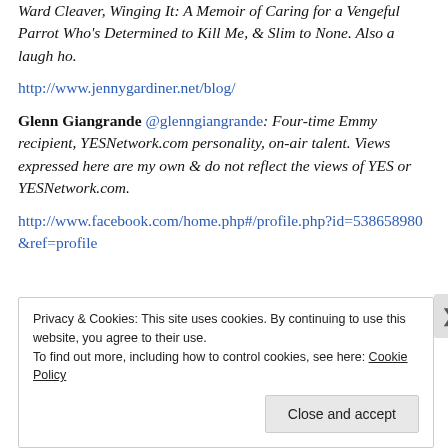Ward Cleaver, Winging It: A Memoir of Caring for a Vengeful Parrot Who's Determined to Kill Me, & Slim to None. Also a laugh ho.
http://www.jennygardiner.net/blog/
Glenn Giangrande @glenngiangrande: Four-time Emmy recipient, YESNetwork.com personality, on-air talent. Views expressed here are my own & do not reflect the views of YES or YESNetwork.com.
http://www.facebook.com/home.php#/profile.php?id=538658980&ref=profile
Privacy & Cookies: This site uses cookies. By continuing to use this website, you agree to their use. To find out more, including how to control cookies, see here: Cookie Policy
Close and accept